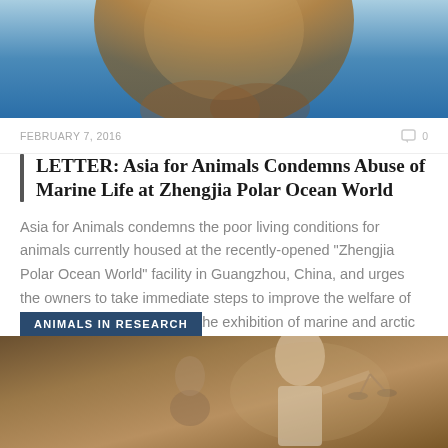[Figure (photo): Partial image of a polar bear with blue background, cropped at top]
FEBRUARY 7, 2016   0
LETTER: Asia for Animals Condemns Abuse of Marine Life at Zhengjia Polar Ocean World
Asia for Animals condemns the poor living conditions for animals currently housed at the recently-opened “Zhengjia Polar Ocean World” facility in Guangzhou, China, and urges the owners to take immediate steps to improve the welfare of the animals and reconsider the exhibition of marine and arctic wildlife in this and future shopping malls.
[Figure (photo): Painting-style image with category badge 'ANIMALS IN RESEARCH' showing a classical painting figure]
ANIMALS IN RESEARCH